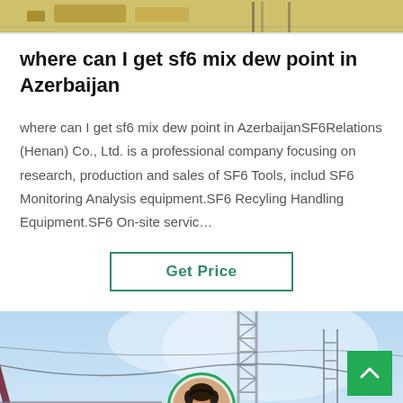[Figure (photo): Top cropped image showing cables and wooden boxes on a surface]
where can I get sf6 mix dew point in Azerbaijan
where can I get sf6 mix dew point in AzerbaijanSF6Relations (Henan) Co., Ltd. is a professional company focusing on research, production and sales of SF6 Tools, includ SF6 Monitoring Analysis equipment.SF6 Recyling Handling Equipment.SF6 On-site servic…
[Figure (other): Get Price button with teal/green border]
[Figure (photo): Industrial site with red crane arm and metal tower structure against a bright sky, with a dark footer bar showing Leave Message and Chat Online buttons and a circular avatar of a customer service representative]